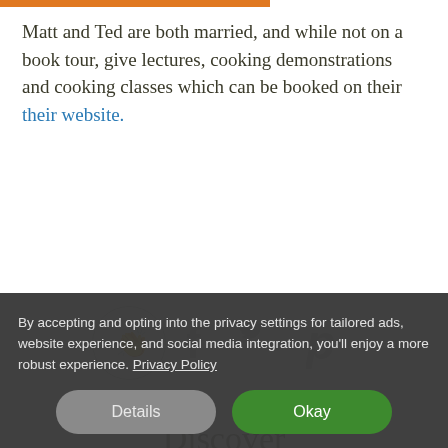Matt and Ted are both married, and while not on a book tour, give lectures, cooking demonstrations and cooking classes which can be booked on their their website.
[Figure (infographic): Social sharing icons: clapping hands in a circle, Facebook f, Twitter bird, Pinterest P — all in light grey]
Discover
By accepting and opting into the privacy settings for tailored ads, website experience, and social media integration, you'll enjoy a more robust experience. Privacy Policy
Details  Okay